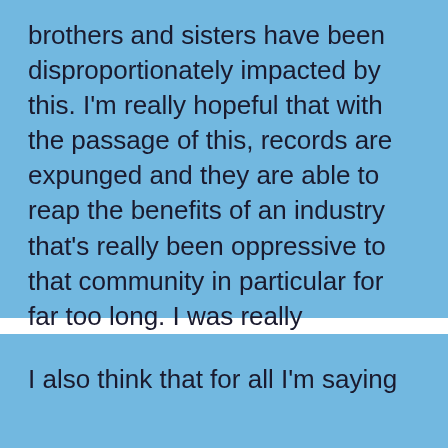brothers and sisters have been disproportionately impacted by this. I'm really hopeful that with the passage of this, records are expunged and they are able to reap the benefits of an industry that's really been oppressive to that community in particular for far too long. I was really struggling with the bill because I am in full support of those pieces.
I also think that for all I'm saying